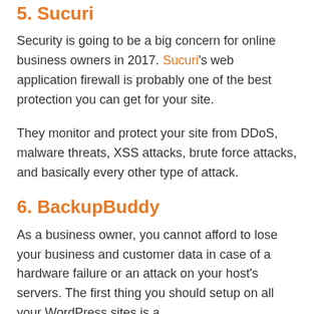5. Sucuri
Security is going to be a big concern for online business owners in 2017. Sucuri's web application firewall is probably one of the best protection you can get for your site.
They monitor and protect your site from DDoS, malware threats, XSS attacks, brute force attacks, and basically every other type of attack.
6. BackupBuddy
As a business owner, you cannot afford to lose your business and customer data in case of a hardware failure or an attack on your host's servers. The first thing you should setup on all your WordPress sites is a